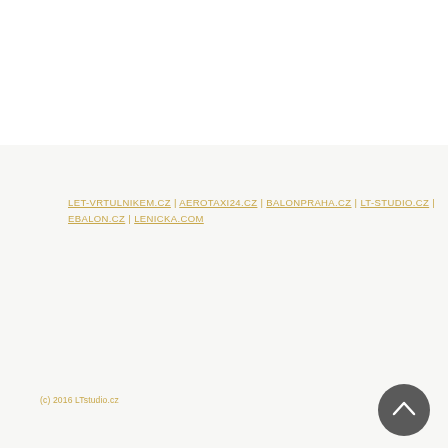LET-VRTULNIKEM.CZ | AEROTAXI24.CZ | BALONPRAHA.CZ | LT-STUDIO.CZ | EBALON.CZ | LENICKA.COM
(c) 2016 LTstudio.cz